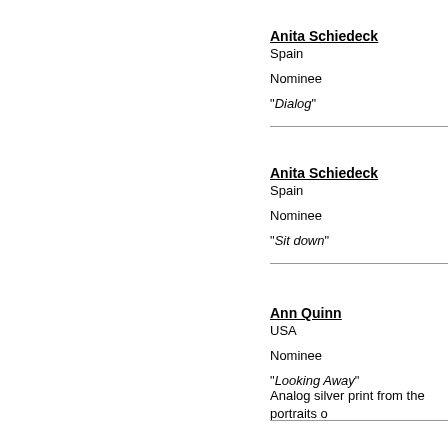Anita Schiedeck
Spain
Nominee
"Dialog"
Anita Schiedeck
Spain
Nominee
"Sit down"
Ann Quinn
USA
Nominee
"Looking Away"
Analog silver print from the portraits of